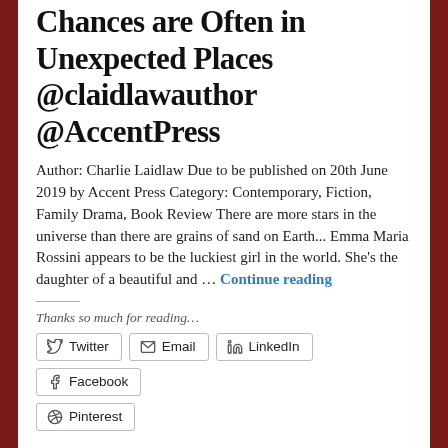Chances are Often in Unexpected Places @claidlawauthor @AccentPress
Author: Charlie Laidlaw Due to be published on 20th June 2019 by Accent Press Category: Contemporary, Fiction, Family Drama, Book Review There are more stars in the universe than there are grains of sand on Earth... Emma Maria Rossini appears to be the luckiest girl in the world. She's the daughter of a beautiful and ... Continue reading
Thanks so much for reading...
Twitter | Email | LinkedIn | Facebook | Pinterest